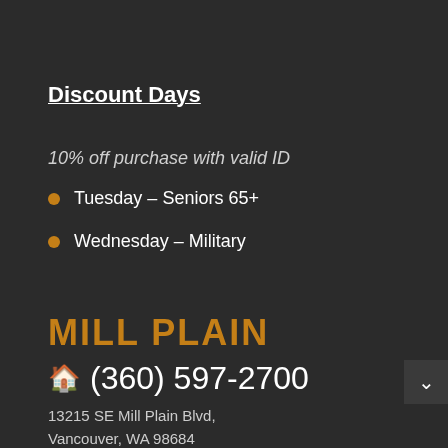Discount Days
10% off purchase with valid ID
Tuesday – Seniors 65+
Wednesday – Military
MILL PLAIN
(360) 597-2700
13215 SE Mill Plain Blvd, Vancouver, WA 98684